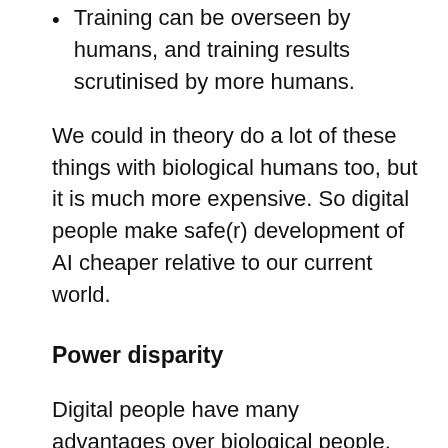Training can be overseen by humans, and training results scrutinised by more humans.
We could in theory do a lot of these things with biological humans too, but it is much more expensive. So digital people make safe(r) development of AI cheaper relative to our current world.
Power disparity
Digital people have many advantages over biological people. AIs have all the advantages of digital people, plus others (largely consisting of being optimised more strongly for productive tasks and eventually being more generally intelligent